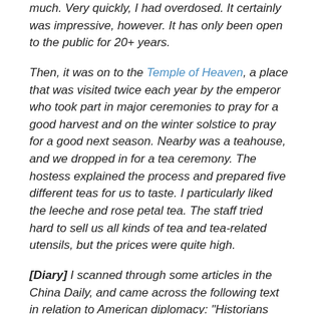much. Very quickly, I had overdosed. It certainly was impressive, however. It has only been open to the public for 20+ years.
Then, it was on to the Temple of Heaven, a place that was visited twice each year by the emperor who took part in major ceremonies to pray for a good harvest and on the winter solstice to pray for a good next season. Nearby was a teahouse, and we dropped in for a tea ceremony. The hostess explained the process and prepared five different teas for us to taste. I particularly liked the leeche and rose petal tea. The staff tried hard to sell us all kinds of tea and tea-related utensils, but the prices were quite high.
[Diary] I scanned through some articles in the China Daily, and came across the following text in relation to American diplomacy: "Historians know well that the US has never been half as idealistic as it likes to see itself; … The spirit invoked by the Statue of Liberty, embracing the poor and huddled masses, still shines brighter that all the lights in new York City